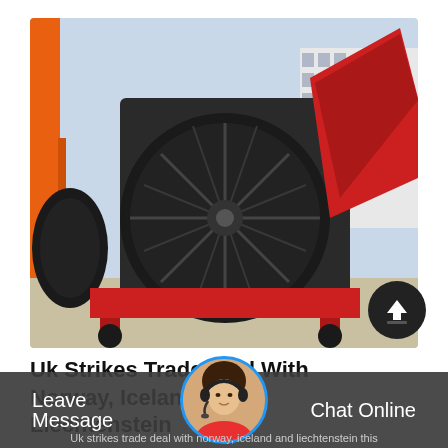[Figure (photo): Industrial centrifugal fan/blower unit, dark grey/black metal, large circular inlet with vanes visible, mounted on red wheeled frame outdoors. Orange crane structure visible left, white building in background.]
Uk Strikes Trade Deal With Norway, Iceland And Liechtenstein
[Figure (other): Upload/share button: dark circle with white upward arrow icon, bottom right of photo]
[Figure (photo): Customer service avatar: woman with headset, circular crop with blue border]
Leave Message
Chat Online
Uk strikes trade deal with norway, iceland and liechtenstein this